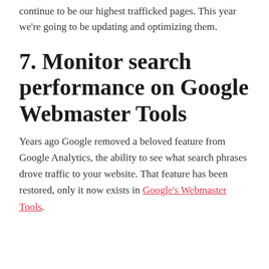several blog posts from 2008 – 2012 that continue to be our highest trafficked pages. This year we're going to be updating and optimizing them.
7. Monitor search performance on Google Webmaster Tools
Years ago Google removed a beloved feature from Google Analytics, the ability to see what search phrases drove traffic to your website. That feature has been restored, only it now exists in Google's Webmaster Tools.